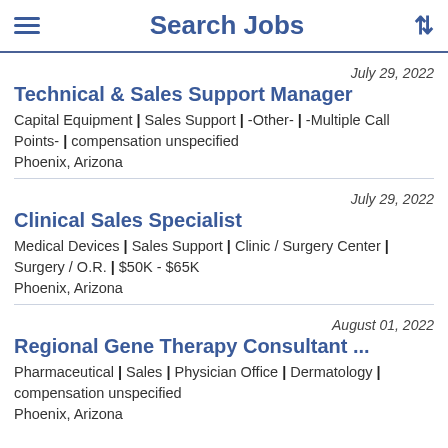Search Jobs
July 29, 2022 | Technical & Sales Support Manager | Capital Equipment | Sales Support | -Other- | -Multiple Call Points- | compensation unspecified | Phoenix, Arizona
July 29, 2022 | Clinical Sales Specialist | Medical Devices | Sales Support | Clinic / Surgery Center | Surgery / O.R. | $50K - $65K | Phoenix, Arizona
August 01, 2022 | Regional Gene Therapy Consultant ... | Pharmaceutical | Sales | Physician Office | Dermatology | compensation unspecified | Phoenix, Arizona